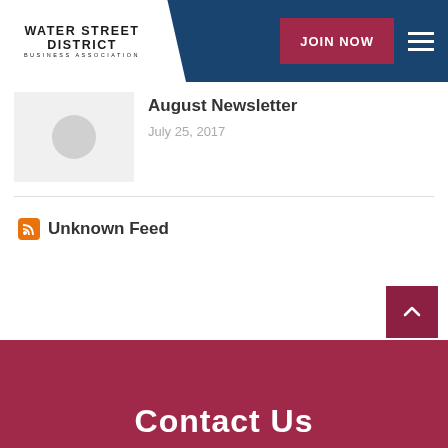WATER STREET DISTRICT BUSINESS ASSOCIATION | JOIN NOW
[Figure (screenshot): Article thumbnail placeholder with grey circle icon]
August Newsletter
July 25, 2017
Unknown Feed
Contact Us